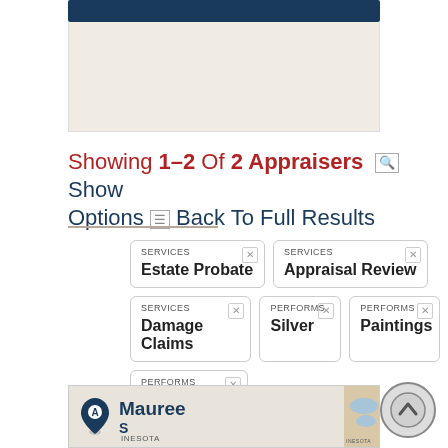Showing 1–2 Of 2 Appraisers   Show Options   Back To Full Results
SERVICES: Estate Probate
SERVICES: Appraisal Review
SERVICES: Damage Claims
PERFORMS: Silver
PERFORMS: Paintings
PERFORMS: Crystal
[Figure (map): Map showing appraiser location in Minnesota area with blue lake region visible. Shows name 'Mauree...' with location pin.]